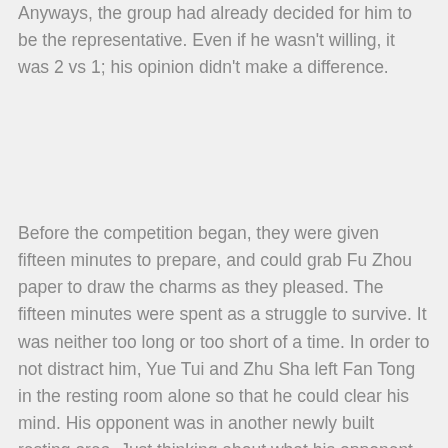Anyways, the group had already decided for him to be the representative. Even if he wasn't willing, it was 2 vs 1; his opinion didn't make a difference.
Before the competition began, they were given fifteen minutes to prepare, and could grab Fu Zhou paper to draw the charms as they pleased. The fifteen minutes were spent as a struggle to survive. It was neither too long or too short of a time. In order to not distract him, Yue Tui and Zhu Sha left Fan Tong in the resting room alone so that he could clear his mind. His opponent was in another newly built resting area. Just thinking about what his opponent was doing to prepare made Fan Tong extremely restless.